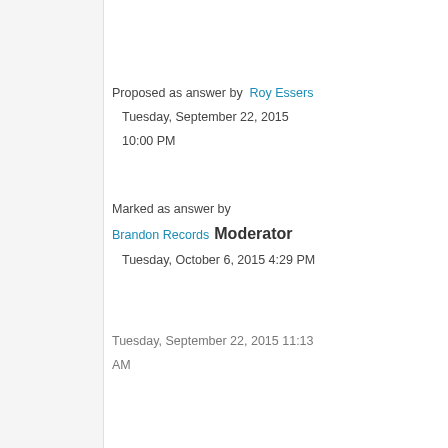Proposed as answer by Roy Essers Tuesday, September 22, 2015 10:00 PM
Marked as answer by Brandon Records Moderator Tuesday, October 6, 2015 4:29 PM
Tuesday, September 22, 2015 11:13 AM
[Figure (photo): User avatar photo of Vigneshwaran (MCTS) with a blue plus badge in the top-right corner]
Vigneshwaran (MCTS)
(MCC MVP) 6,077 Points
[Figure (illustration): Gray square icon with a speech bubble / comment symbol inside]
▲
0
Sign in